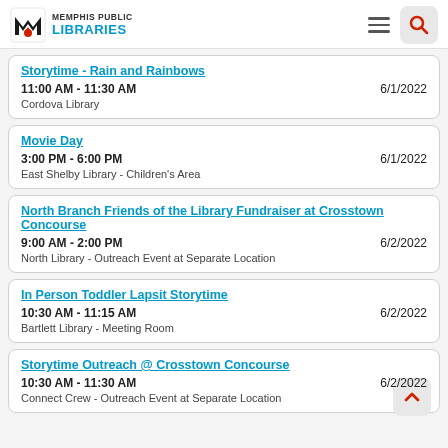Memphis Public Libraries
Storytime - Rain and Rainbows | 11:00 AM - 11:30 AM | 6/1/2022 | Cordova Library
Movie Day | 3:00 PM - 6:00 PM | 6/1/2022 | East Shelby Library - Children's Area
North Branch Friends of the Library Fundraiser at Crosstown Concourse | 9:00 AM - 2:00 PM | 6/2/2022 | North Library - Outreach Event at Separate Location
In Person Toddler Lapsit Storytime | 10:30 AM - 11:15 AM | 6/2/2022 | Bartlett Library - Meeting Room
Storytime Outreach @ Crosstown Concourse | 10:30 AM - 11:30 AM | 6/2/2022 | Connect Crew - Outreach Event at Separate Location